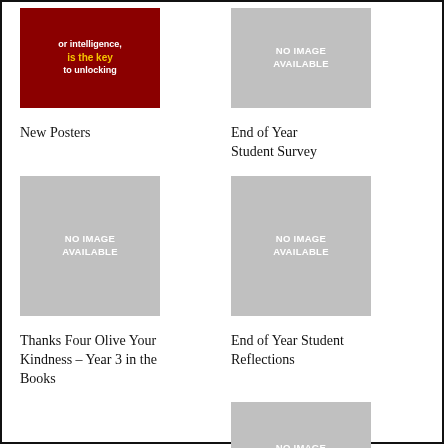[Figure (photo): Book cover or poster with dark red background, text reads 'or intelligence, is the key to unlocking']
New Posters
[Figure (photo): No image available placeholder (grey)]
End of Year Student Survey
[Figure (photo): No image available placeholder (grey)]
Thanks Four Olive Your Kindness – Year 3 in the Books
[Figure (photo): No image available placeholder (grey)]
End of Year Student Reflections
[Figure (photo): No image available placeholder (grey)]